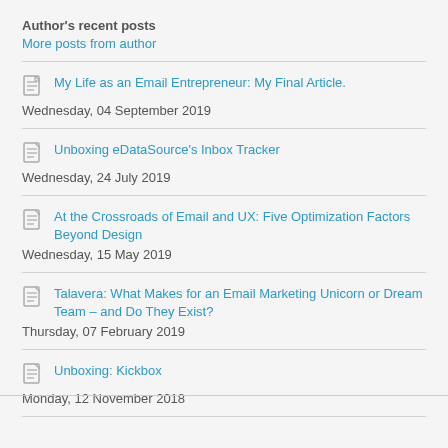Author's recent posts
More posts from author
My Life as an Email Entrepreneur: My Final Article.
Wednesday, 04 September 2019
Unboxing eDataSource's Inbox Tracker
Wednesday, 24 July 2019
At the Crossroads of Email and UX: Five Optimization Factors Beyond Design
Wednesday, 15 May 2019
Talavera: What Makes for an Email Marketing Unicorn or Dream Team – and Do They Exist?
Thursday, 07 February 2019
Unboxing: Kickbox
Monday, 12 November 2018